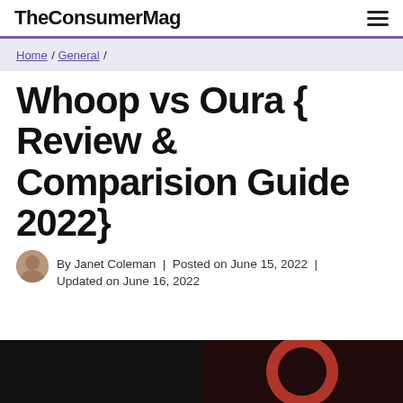TheConsumerMag
Home / General /
Whoop vs Oura { Review & Comparision Guide 2022}
By Janet Coleman | Posted on June 15, 2022 | Updated on June 16, 2022
[Figure (photo): Two split product photos: left shows a dark background with a Whoop fitness tracker, right shows a dark background with an Oura ring (red ring shape visible)]